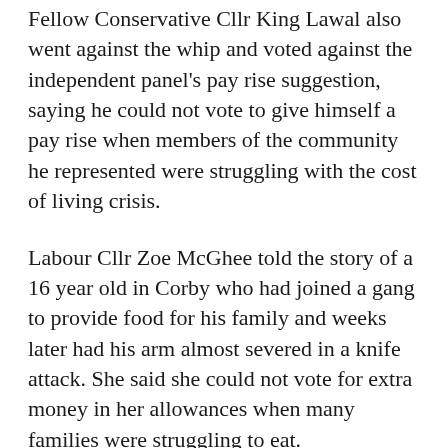Fellow Conservative Cllr King Lawal also went against the whip and voted against the independent panel's pay rise suggestion, saying he could not vote to give himself a pay rise when members of the community he represented were struggling with the cost of living crisis.
Labour Cllr Zoe McGhee told the story of a 16 year old in Corby who had joined a gang to provide food for his family and weeks later had his arm almost severed in a knife attack. She said she could not vote for extra money in her allowances when many families were struggling to eat.
Cllr Lora Lawman, who had chaired the working party looking at the councillor issue, said the extra cash for councillors was needed to encourage younger people into standing for election. This claim was rubbished by